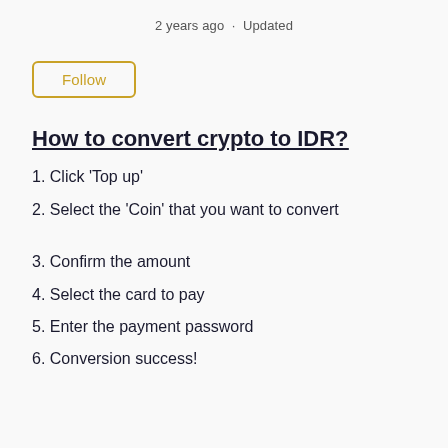2 years ago · Updated
Follow
How to convert crypto to IDR?
1. Click 'Top up'
2. Select the 'Coin' that you want to convert
3. Confirm the amount
4. Select the card to pay
5. Enter the payment password
6. Conversion success!